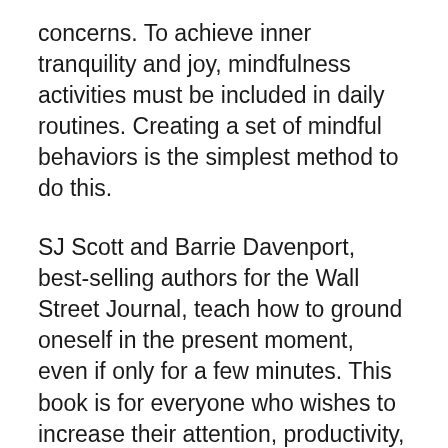concerns. To achieve inner tranquility and joy, mindfulness activities must be included in daily routines. Creating a set of mindful behaviors is the simplest method to do this.
SJ Scott and Barrie Davenport, best-selling authors for the Wall Street Journal, teach how to ground oneself in the present moment, even if only for a few minutes. This book is for everyone who wishes to increase their attention, productivity, happiness, and mental calm in order to achieve greater life success. You'll not only be able to choose among 71 mindfulness practices, but you'll also learn how to make these habits second nature with practical solutions. You can “create your own experience” with 10-Minute Mindfulness by selecting mindfulness